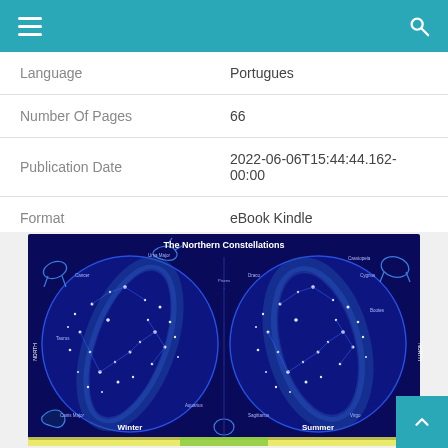Navigation bar with hamburger menu and search icon
| Field | Value |
| --- | --- |
| Language | Portugues |
| Number Of Pages | 66 |
| Publication Date | 2022-06-06T15:44:44.162-00:00 |
| Format | eBook Kindle |
[Figure (map): Star map titled 'The Northern Constellations' showing two hemispheres (Winter and Summer) with constellation illustrations on a dark blue background, with star positions and constellation names labeled.]